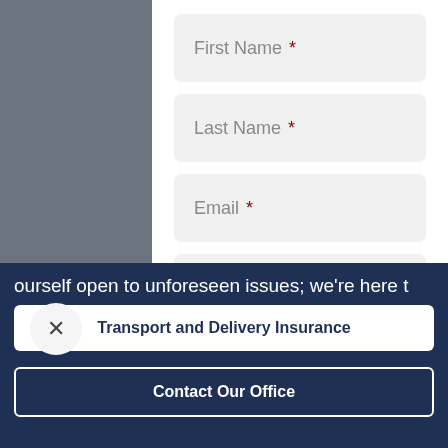[Figure (screenshot): Insurance contact form screenshot showing fields: First Name, Last Name, Email, Phone Number, and a partially visible fifth field. A close (X) button overlaps the lower left. A dark navy banner at the bottom contains truncated text 'ourself open to unforeseen issues; we're here t' and two buttons: 'Transport and Delivery Insurance' (white) and 'Contact Our Office' (dark with white border).]
First Name *
Last Name *
Email *
Phone Number *
ourself open to unforeseen issues; we're here t
Transport and Delivery Insurance
Contact Our Office